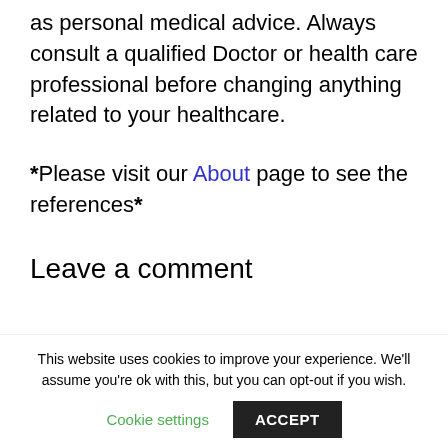as personal medical advice. Always consult a qualified Doctor or health care professional before changing anything related to your healthcare.
*Please visit our About page to see the references*
Leave a comment
[Comment text area input box]
This website uses cookies to improve your experience. We'll assume you're ok with this, but you can opt-out if you wish.
Cookie settings | ACCEPT